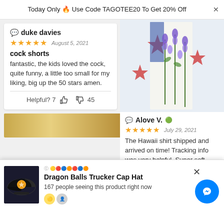Today Only 🔥 Use Code TAGOTEE20 To Get 20% Off
duke davies
★★★★★  August 5, 2021
cock shorts
fantastic, the kids loved the cock, quite funny, a little too small for my liking, big up the 50 stars amen.
Helpful? 7 👍 👎 45
[Figure (photo): Product photo showing floral/botanical print fabric with Texas flag motifs and bluebonnet flowers]
Alove V. ✅
★★★★★  July 29, 2021
The Hawaii shirt shipped and arrived on time! Tracking info was very helpful. Super soft, great quality material! Shirt color
[Figure (photo): Bottom popup banner showing Dragon Balls Trucker Cap Hat product with image and messenger button]
Dragon Balls Trucker Cap Hat
167 people seeing this product right now